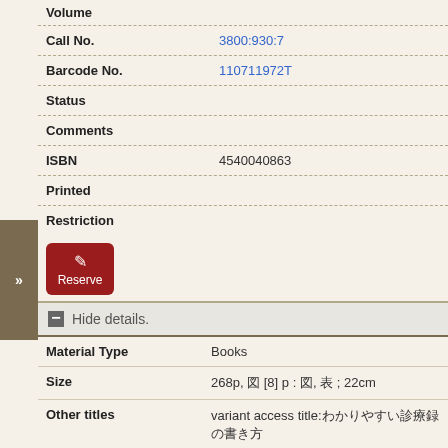| Field | Value |
| --- | --- |
| Volume |  |
| Call No. | 3800:930:7 |
| Barcode No. | 110711972T |
| Status |  |
| Comments |  |
| ISBN | 4540040863 |
| Printed |  |
| Restriction |  |
Reserve
Hide details.
| Field | Value |
| --- | --- |
| Material Type | Books |
| Size | 268p, 図 [8] p : 図, 表 ; 22cm |
| Other titles | variant access title:わかりやすい診療録の書き方 |
| Notes | 著: 中島敏子, 加藤光寶, 村上哲也, 宮本ますみ, 坂倉庫三, 医療情報科学研究所
索引形式: 巻末 |
|  | BSH:診療録 |